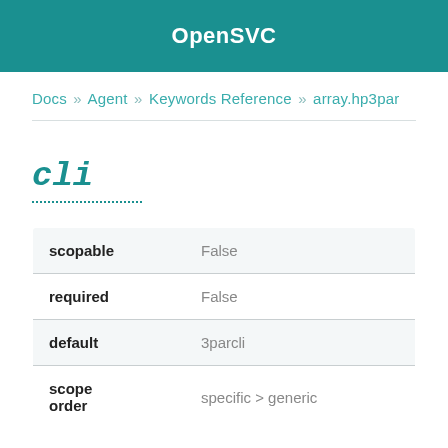OpenSVC
Docs » Agent » Keywords Reference » array.hp3par
cli
| Property | Value |
| --- | --- |
| scopable | False |
| required | False |
| default | 3parcli |
| scope order | specific > generic |